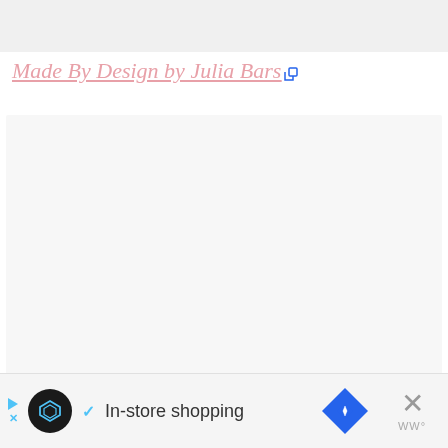[Figure (photo): Top banner image area, light gray placeholder]
Made By Design by Julia Bars [external link icon]
[Figure (photo): Main content area, light gray placeholder with three dot indicators at bottom]
[Figure (screenshot): Bottom advertisement bar showing Instacart-style ad with play icon, circular logo, checkmark, 'In-store shopping' text, blue diamond navigation icon, and close X button]